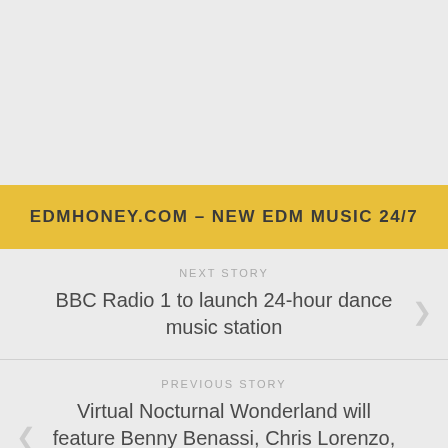EDMHONEY.COM – NEW EDM MUSIC 24/7
NEXT STORY
BBC Radio 1 to launch 24-hour dance music station
PREVIOUS STORY
Virtual Nocturnal Wonderland will feature Benny Benassi, Chris Lorenzo, 4B & more